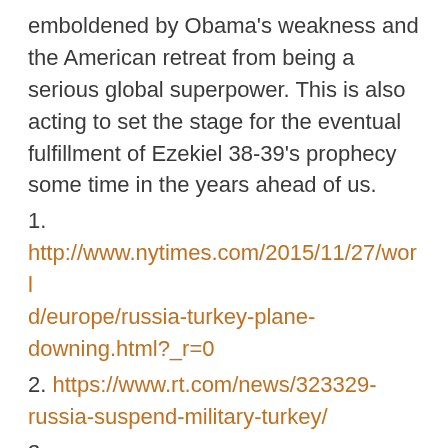emboldened by Obama's weakness and the American retreat from being a serious global superpower. This is also acting to set the stage for the eventual fulfillment of Ezekiel 38-39's prophecy some time in the years ahead of us.
1. http://www.nytimes.com/2015/11/27/world/europe/russia-turkey-plane-downing.html?_r=0
2. https://www.rt.com/news/323329-russia-suspend-military-turkey/
3. http://www.independent.co.uk/news/world/middle-east/russia-deploys-advanced-s-400-air-defence-missile-system-in-syria-after-turkey-downs-one-of-its-jets-